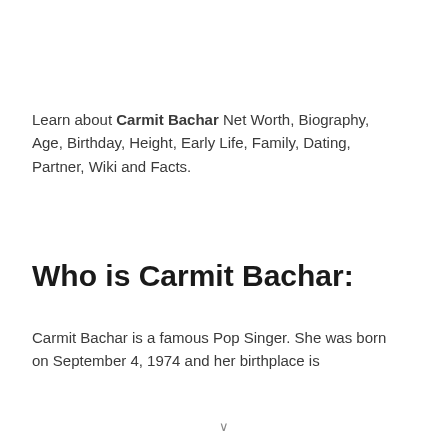Learn about Carmit Bachar Net Worth, Biography, Age, Birthday, Height, Early Life, Family, Dating, Partner, Wiki and Facts.
Who is Carmit Bachar:
Carmit Bachar is a famous Pop Singer. She was born on September 4, 1974 and her birthplace is